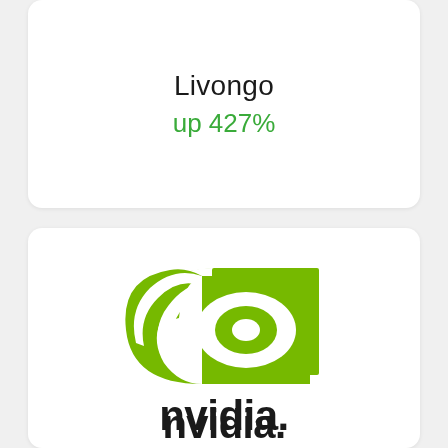Livongo
up 427%
[Figure (logo): NVIDIA green eye logo above the bold NVIDIA wordmark]
Nvidia